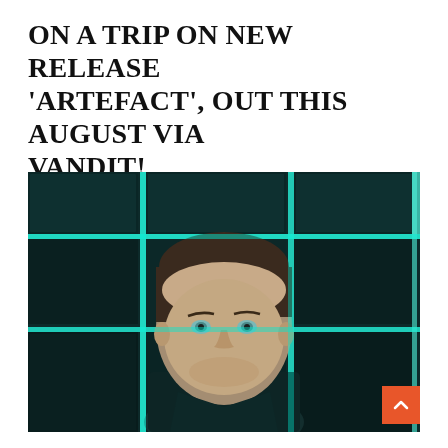ON A TRIP ON NEW RELEASE 'ARTEFACT', OUT THIS AUGUST VIA VANDIT!
[Figure (photo): Portrait photo of a young man with short dark hair and light eyes, wearing a dark shirt, photographed in front of a teal/cyan backlit grid panel background with a 3x4 grid of glowing rectangles. The man is looking slightly upward with a slight smile.]